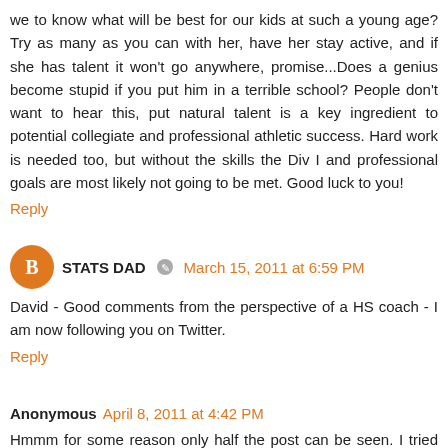we to know what will be best for our kids at such a young age? Try as many as you can with her, have her stay active, and if she has talent it won't go anywhere, promise...Does a genius become stupid if you put him in a terrible school? People don't want to hear this, put natural talent is a key ingredient to potential collegiate and professional athletic success. Hard work is needed too, but without the skills the Div I and professional goals are most likely not going to be met. Good luck to you!
Reply
STATS DAD  March 15, 2011 at 6:59 PM
David - Good comments from the perspective of a HS coach - I am now following you on Twitter.
Reply
Anonymous  April 8, 2011 at 4:42 PM
Hmmm for some reason only half the post can be seen. I tried reloading but still same.